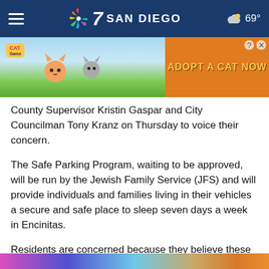NBC 7 SAN DIEGO — 69°
[Figure (screenshot): Advertisement banner for a cat game — 'ADOPT A CAT NOW']
County Supervisor Kristin Gaspar and City Councilman Tony Kranz on Thursday to voice their concern.
The Safe Parking Program, waiting to be approved, will be run by the Jewish Family Service (JFS) and will provide individuals and families living in their vehicles a secure and safe place to sleep seven days a week in Encinitas.
Residents are concerned because they believe these parking lots should be in industrial locations not in residential areas.
[Figure (photo): Partial colorful image strip at bottom of page]